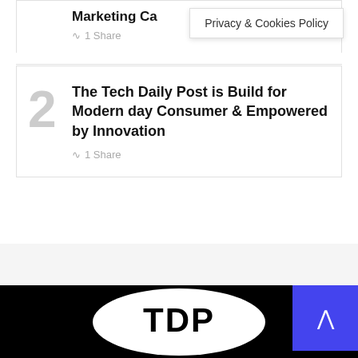Marketing Ca...
Privacy & Cookies Policy
1 Share
2
The Tech Daily Post is Build for Modern day Consumer & Empowered by Innovation
1 Share
[Figure (logo): TDP logo - white oval with bold black text 'TDP' on black background]